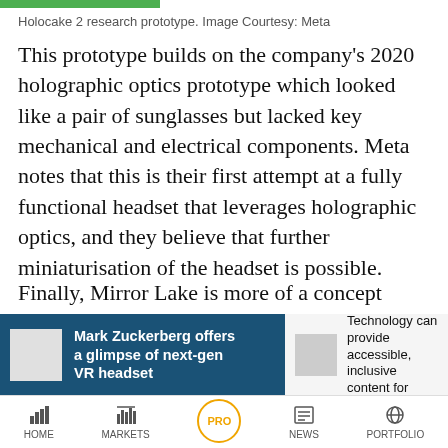Holocake 2 research prototype. Image Courtesy: Meta
This prototype builds on the company's 2020 holographic optics prototype which looked like a pair of sunglasses but lacked key mechanical and electrical components. Meta notes that this is their first attempt at a fully functional headset that leverages holographic optics, and they believe that further miniaturisation of the headset is possible.
Finally, Mirror Lake is more of a concept design that is expected to have a ski goggles-like form factor that will integrate all of the technologies
[Figure (screenshot): Bottom overlay card left: dark blue background with thumbnail and text 'Mark Zuckerberg offers a glimpse of next-gen VR headset']
[Figure (screenshot): Bottom overlay card right: light grey background with thumbnail and text 'Technology can provide accessible, inclusive...']
HOME   MARKETS   PRO   NEWS   PORTFOLIO